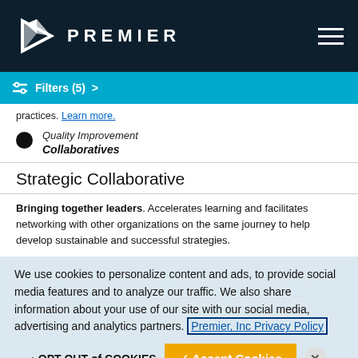PREMIER
Filters (5) >
practices. Learn more.
Quality Improvement Collaboratives
Strategic Collaborative
Bringing together leaders. Accelerates learning and facilitates networking with other organizations on the same journey to help develop sustainable and successful strategies.
We use cookies to personalize content and ads, to provide social media features and to analyze our traffic. We also share information about your use of our site with our social media, advertising and analytics partners. Premier, Inc Privacy Policy
OPT-OUT of COOKIES   Accept Cookies